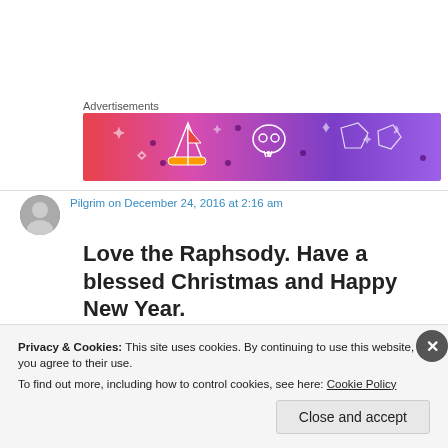Advertisements
[Figure (illustration): Colorful advertisement banner with gradient pink-to-purple background featuring cartoon illustrations: a sailboat, skull, dice, and decorative elements with white line art]
Pilgrim on December 24, 2016 at 2:16 am
Love the Raphsody. Have a blessed Christmas and Happy New Year.
[Figure (screenshot): Dark/black video thumbnail]
Privacy & Cookies: This site uses cookies. By continuing to use this website, you agree to their use.
To find out more, including how to control cookies, see here: Cookie Policy
Close and accept